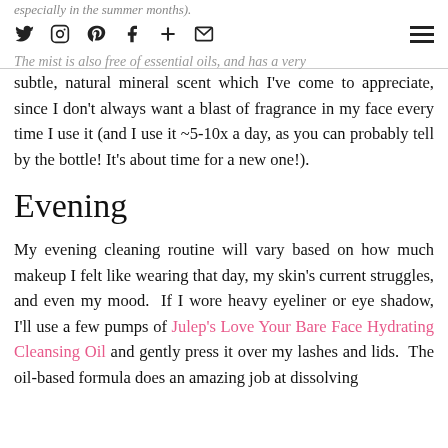especially in the summer months).
[icons: twitter, instagram, pinterest, facebook, plus, email] [hamburger menu]
The mist is also free of essential oils, and has a very
subtle, natural mineral scent which I've come to appreciate, since I don't always want a blast of fragrance in my face every time I use it (and I use it ~5-10x a day, as you can probably tell by the bottle! It's about time for a new one!).
Evening
My evening cleaning routine will vary based on how much makeup I felt like wearing that day, my skin's current struggles, and even my mood.  If I wore heavy eyeliner or eye shadow, I'll use a few pumps of Julep's Love Your Bare Face Hydrating Cleansing Oil and gently press it over my lashes and lids.  The oil-based formula does an amazing job at dissolving